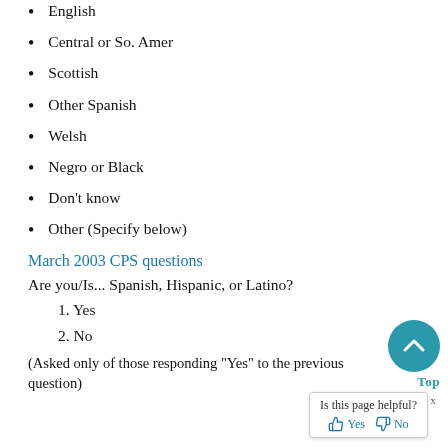English
Central or So. Amer
Scottish
Other Spanish
Welsh
Negro or Black
Don't know
Other (Specify below)
March 2003 CPS questions
Are you/Is... Spanish, Hispanic, or Latino?
1. Yes
2. No
(Asked only of those responding "Yes" to the previous question)